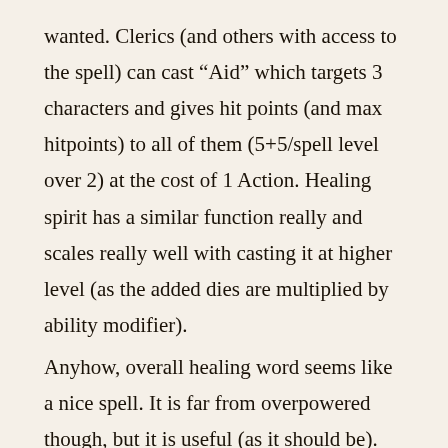wanted. Clerics (and others with access to the spell) can cast “Aid” which targets 3 characters and gives hit points (and max hitpoints) to all of them (5+5/spell level over 2) at the cost of 1 Action. Healing spirit has a similar function really and scales really well with casting it at higher level (as the added dies are multiplied by ability modifier).
Anyhow, overall healing word seems like a nice spell. It is far from overpowered though, but it is useful (as it should be).